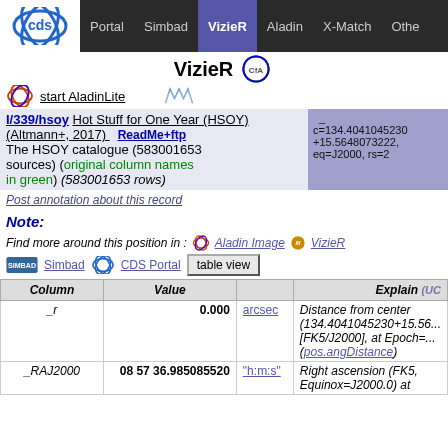Portal  Simbad  VizieR  Aladin  X-Match  Other
VizieR
start AladinLite
I/339/hsoy  Hot Stuff for One Year (HSOY) (Altmann+, 2017)  ReadMe+ftp  The HSOY catalogue (583001653 sources) (original column names in green) (583001653 rows)
c=134.4041045230+15.5648073222, eq=J2000, rs=2
Post annotation about this record
Note:
Find more around this position in :  Aladin Image  VizieR  Simbad  CDS Portal  table view
| Column | Value |  | Explain  (UCD |
| --- | --- | --- | --- |
| _r | 0.000 | arcsec | Distance from center (134.4041045230+15.56... [FK5/J2000], at Epoch=... (pos.angDistance) |
| _RAJ2000 | 08 57 36.985085520 | "h:m:s" | Right ascension (FK5, Equinox=J2000.0) at |